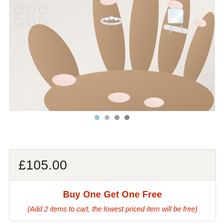[Figure (photo): Close-up photo of a hand wearing a large diamond solitaire ring and a smaller ring with clear stones, resting on a white knit fabric background. The nails are painted a light pink/nude color.]
• • • •  (carousel navigation dots, first dot active)
£105.00
Buy One Get One Free
(Add 2 items to cart, the lowest priced item will be free)